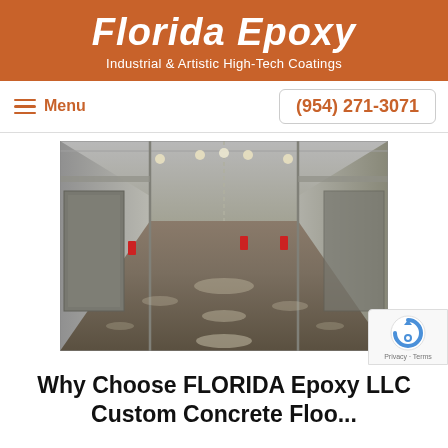Florida Epoxy – Industrial & Artistic High-Tech Coatings
Menu | (954) 271-3071
[Figure (photo): Interior of a large industrial warehouse with a highly polished, glossy epoxy-coated concrete floor reflecting overhead lights and structural steel.]
Why Choose FLORIDA Epoxy LLC Custom Concrete Floo...